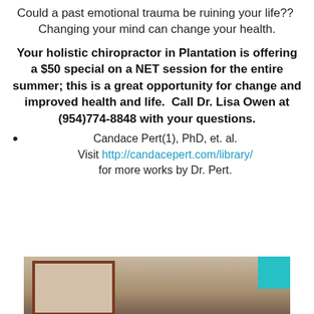Could a past emotional trauma be ruining your life??  Changing your mind can change your health.
Your holistic chiropractor in Plantation is offering a $50 special on a NET session for the entire summer; this is a great opportunity for change and improved health and life.  Call Dr. Lisa Owen at (954)774-8848 with your questions.
Candace Pert(1), PhD, et. al. Visit http://candacepert.com/library/ for more works by Dr. Pert.
[Figure (photo): Photo of a person at a desk with framed certificates on wall and teal accent in upper right corner]